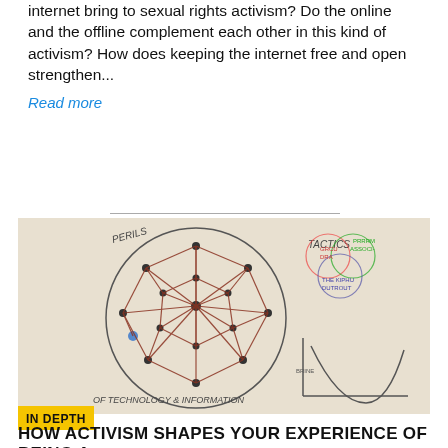internet bring to sexual rights activism? Do the online and the offline complement each other in this kind of activism? How does keeping the internet free and open strengthen...
Read more
[Figure (photo): Hand-drawn diagrams on paper showing a network graph inside a circle labeled 'PERILS' and 'OF TECHNOLOGY & INFORMATION', alongside a Venn diagram with overlapping circles and a U-shaped curve graph.]
IN DEPTH
HOW ACTIVISM SHAPES YOUR EXPERIENCE OF BEING A